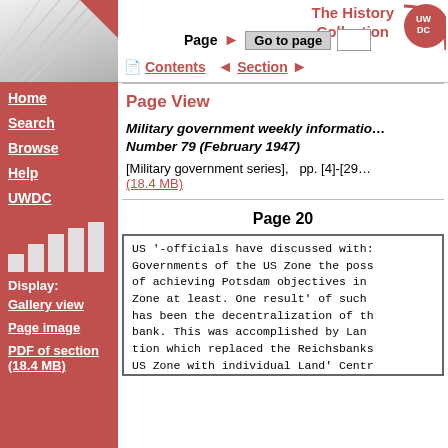[Figure (screenshot): UWDC The History Collection website interface with red sidebar navigation and top navigation bar]
Page View
Military government weekly information Number 79 (February 1947)
[Military government series],   pp. [4]-[29  (18.4 MB)
Page 20
US '-officials have discussed with: Governments of the US Zone the poss of achieving Potsdam objectives in Zone at least. One result' of such has been the decentralization of th bank. This was accomplished by Lan tion which replaced the Reichsbanks US Zone with individual Land' Centr